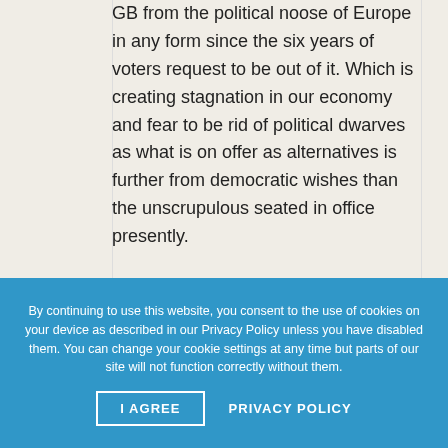GB from the political noose of Europe in any form since the six years of voters request to be out of it. Which is creating stagnation in our economy and fear to be rid of political dwarves as what is on offer as alternatives is further from democratic wishes than the unscrupulous seated in office presently.

From the 1950's onwards the voters of
By continuing to use this website, you consent to the use of cookies on your device as described in our Privacy Policy unless you have disabled them. You can change your cookie settings at any time but parts of our site will not function correctly without them.
I AGREE
PRIVACY POLICY